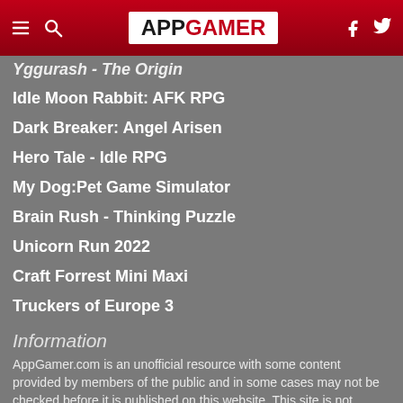APP GAMER
Yggurash - The Origin
Idle Moon Rabbit: AFK RPG
Dark Breaker: Angel Arisen
Hero Tale - Idle RPG
My Dog:Pet Game Simulator
Brain Rush - Thinking Puzzle
Unicorn Run 2022
Craft Forrest Mini Maxi
Truckers of Europe 3
Information
AppGamer.com is an unofficial resource with some content provided by members of the public and in some cases may not be checked before it is published on this website. This site is not affiliated in any way with Apple or any video game publishers.